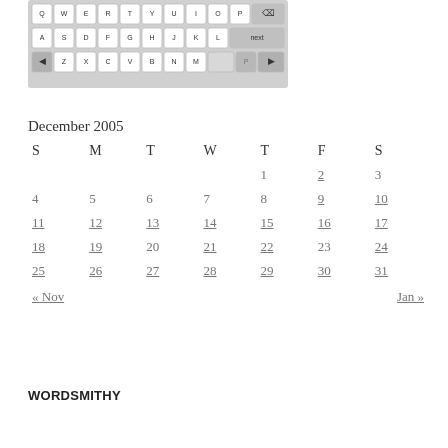[Figure (screenshot): On-screen keyboard graphic showing QWERTY layout with rows Q-P, A-L with 'next' key, and Z-M row with arrow keys and backspace]
| S | M | T | W | T | F | S |
| --- | --- | --- | --- | --- | --- | --- |
|  |  |  |  | 1 | 2 | 3 |
| 4 | 5 | 6 | 7 | 8 | 9 | 10 |
| 11 | 12 | 13 | 14 | 15 | 16 | 17 |
| 18 | 19 | 20 | 21 | 22 | 23 | 24 |
| 25 | 26 | 27 | 28 | 29 | 30 | 31 |
« Nov    Jan »
WORDSMITHY